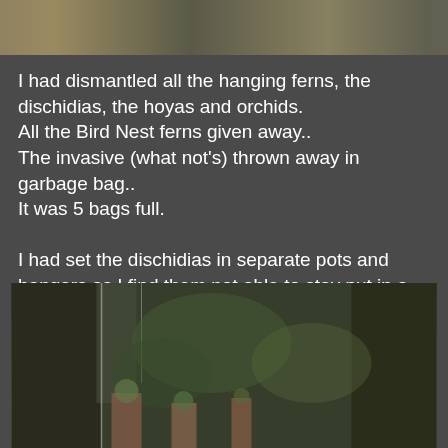[Figure (photo): Top partial photo showing indoor plants/items on a surface, partially cropped]
I had dismantled all the hanging ferns, the dischidias, the hoyas and orchids.
All the Bird Nest ferns given away..
The invasive (what not's) thrown away in garbage bag..
It was 5 bags full.

I had set the dischidias in separate pots and hangers as I find them not able to stay put in a single location. It is the same with hoya.

I had given away most of my orchids to a friend who gave to his in-laws who stays in Cameron Highlands. The last I heard that the plants are still doing well.
[Figure (photo): Bottom photo showing a greenhouse or covered garden area with hanging plants, orchids, and various potted plants in a lush green setting]